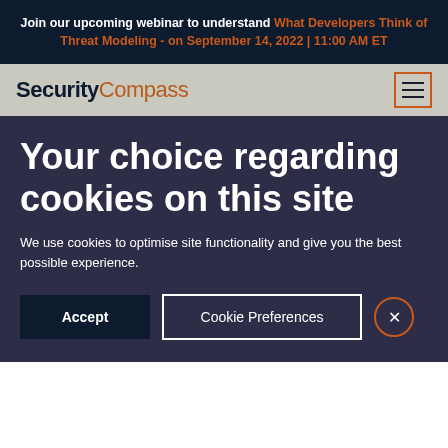Join our upcoming webinar to understand What Developers Think of Threat Modeling - on September 14, 2022 | 11:00 AM ET
[Figure (logo): SecurityCompass logo with hamburger menu icon on grey navigation bar]
Your choice regarding cookies on this site
We use cookies to optimise site functionality and give you the best possible experience.
Accept | Cookie Preferences | X (close button)